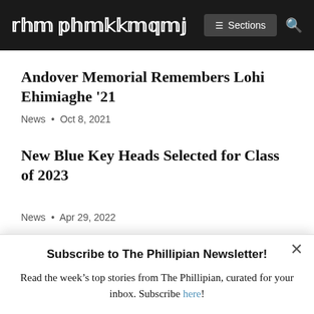The Phillipian | ≡ Sections | 🔍
Andover Memorial Remembers Lohi Ehimiaghe '21
News • Oct 8, 2021
New Blue Key Heads Selected for Class of 2023
News • Apr 29, 2022
[Figure (logo): The Andover Parent Community PSPA advertisement banner]
× Subscribe to The Phillipian Newsletter! Read the week's top stories from The Phillipian, curated for your inbox. Subscribe here!